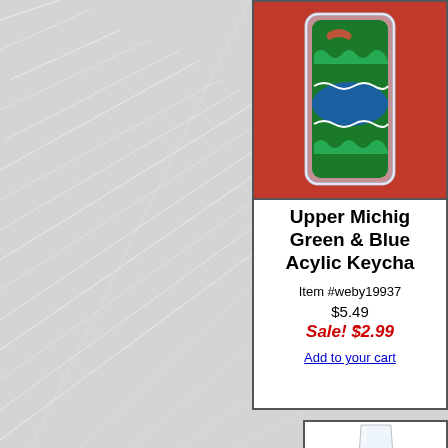[Figure (photo): Product photo of Upper Michigan Green & Blue Acrylic Keychain in a clear acrylic holder with green and blue liquid/design, sitting on a red background]
Upper Michigan Green & Blue Acylic Keycha...
Item #weby19937
$5.49
Sale! $2.99
Add to your cart
[Figure (photo): Partial view of a shot glass with 'YOOPER SHOT' text in dark blue bold italic font on a white frosted glass]